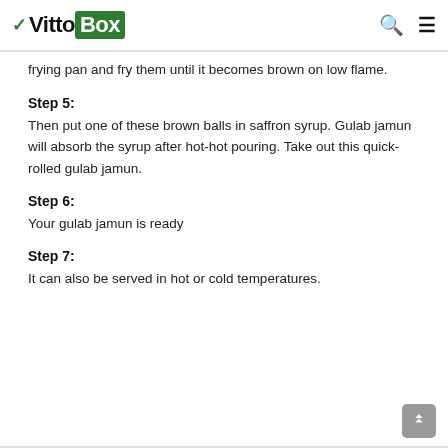VittoBox
frying pan and fry them until it becomes brown on low flame.
Step 5:
Then put one of these brown balls in saffron syrup. Gulab jamun will absorb the syrup after hot-hot pouring. Take out this quick-rolled gulab jamun.
Step 6:
Your gulab jamun is ready
Step 7:
It can also be served in hot or cold temperatures.